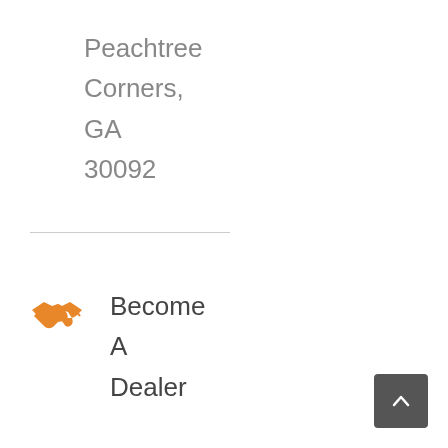Peachtree Corners, GA 30092
[Figure (illustration): Orange handshake icon]
Become A Dealer